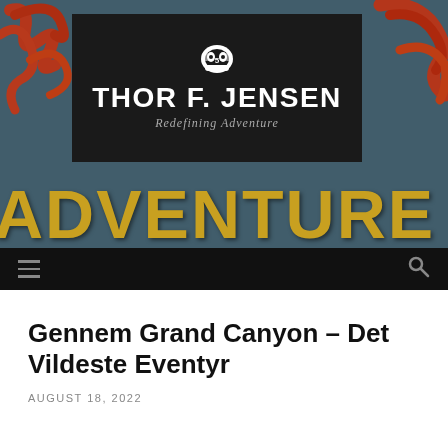[Figure (screenshot): Website header banner for Thor F. Jensen blog with graffiti-style background, logo box, ADVENTURE text, and navigation bar]
Gennem Grand Canyon – Det Vildeste Eventyr
AUGUST 18, 2022